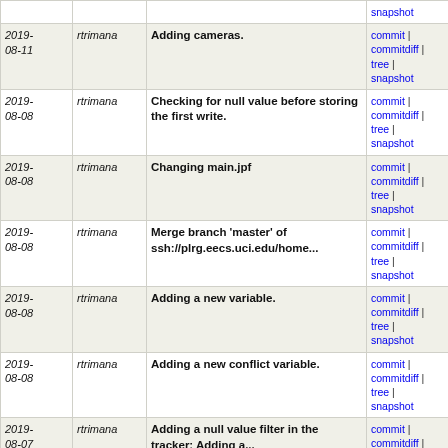| date | author | commit message | links |
| --- | --- | --- | --- |
| 2019-08-11 | rtrimana | Adding cameras. | commit | commitdiff | tree | snapshot |
| 2019-08-08 | rtrimana | Checking for null value before storing the first write. | commit | commitdiff | tree | snapshot |
| 2019-08-08 | rtrimana | Changing main.jpf | commit | commitdiff | tree | snapshot |
| 2019-08-08 | rtrimana | Merge branch 'master' of ssh://plrg.eecs.uci.edu/home... | commit | commitdiff | tree | snapshot |
| 2019-08-08 | rtrimana | Adding a new variable. | commit | commitdiff | tree | snapshot |
| 2019-08-08 | rtrimana | Adding a new conflict variable. | commit | commitdiff | tree | snapshot |
| 2019-08-07 | rtrimana | Adding a null value filter in the tracker; Adding a... | commit | commitdiff | tree | snapshot |
| 2019-08-06 | rtrimana | Adding conflict variable for Speeches. | commit | commitdiff | tree | snapshot |
| 2019-08-06 | bdemsky | More state reduction | commit | commitdiff | tree | snapshot |
| 2019-08-06 | bdemsky | Merge branch 'master' of ssh://plrg.eecs.uci.edu/home... | commit | commitdiff | tree | snapshot |